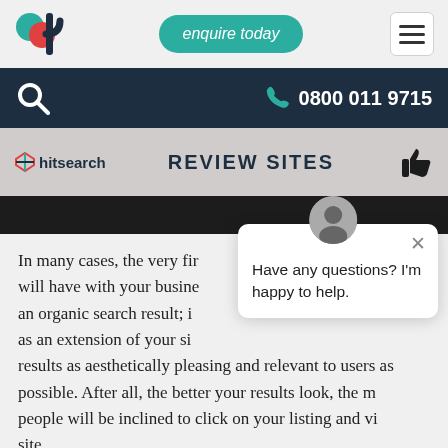enquire today | 0800 011 9715
[Figure (screenshot): Website header with logo, enquire today button, hamburger menu, search icon, phone number navigation bar, and a review sites image strip with hitsearch logo]
In many cases, the very first interaction someone will have with your business online will be through an organic search result; it therefore acts as an extension of your site. You want your results as aesthetically pleasing and relevant to users as possible. After all, the better your results look, the more people will be inclined to click on your listing and visit your site.